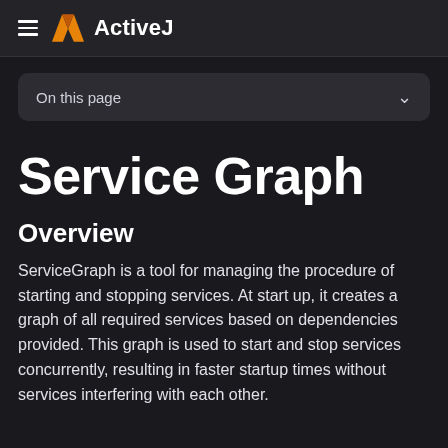ActiveJ
On this page
Service Graph
Overview
ServiceGraph is a tool for managing the procedure of starting and stopping services. At start up, it creates a graph of all required services based on dependencies provided. This graph is used to start and stop services concurrently, resulting in faster startup times without services interfering with each other.